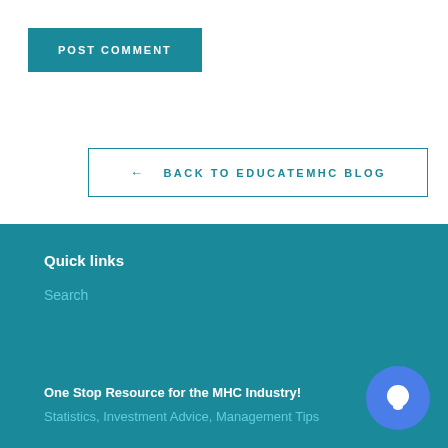POST COMMENT
← BACK TO EDUCATEMHC BLOG
Quick links
Search
One Stop Resource for the MHC Industry!
Statistics, Investment Advice, Management Tips